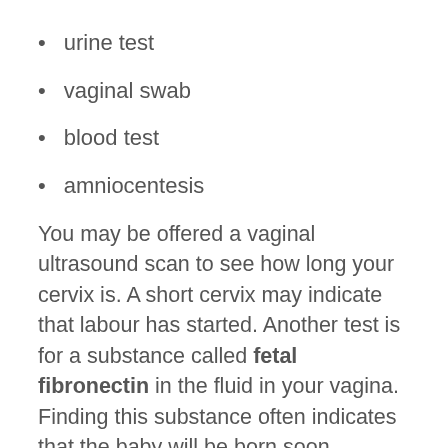urine test
vaginal swab
blood test
amniocentesis
You may be offered a vaginal ultrasound scan to see how long your cervix is. A short cervix may indicate that labour has started. Another test is for a substance called fetal fibronectin in the fluid in your vagina. Finding this substance often indicates that the baby will be born soon.
If your doctors are not certain whether you are in labour, you will be admitted to the antenatal ward